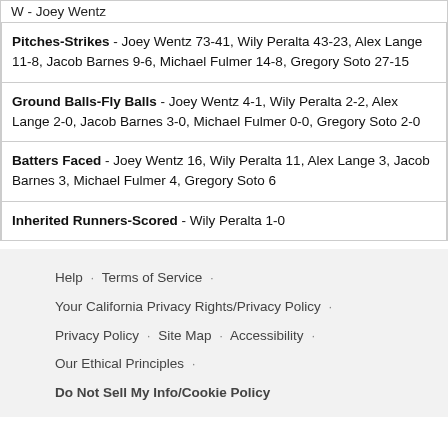W - Joey Wentz
| Pitches-Strikes - Joey Wentz 73-41, Wily Peralta 43-23, Alex Lange 11-8, Jacob Barnes 9-6, Michael Fulmer 14-8, Gregory Soto 27-15 |
| Ground Balls-Fly Balls - Joey Wentz 4-1, Wily Peralta 2-2, Alex Lange 2-0, Jacob Barnes 3-0, Michael Fulmer 0-0, Gregory Soto 2-0 |
| Batters Faced - Joey Wentz 16, Wily Peralta 11, Alex Lange 3, Jacob Barnes 3, Michael Fulmer 4, Gregory Soto 6 |
| Inherited Runners-Scored - Wily Peralta 1-0 |
Help · Terms of Service · Your California Privacy Rights/Privacy Policy · Privacy Policy · Site Map · Accessibility · Our Ethical Principles · Do Not Sell My Info/Cookie Policy